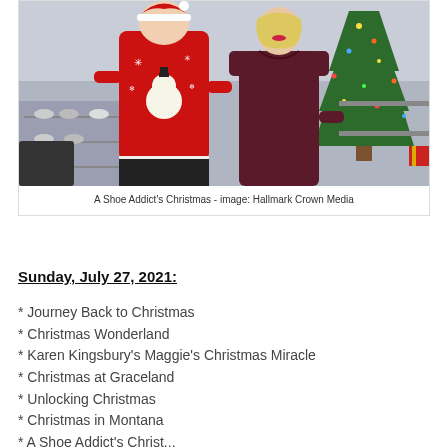[Figure (photo): Two women posing in a store decorated for Christmas. The woman on the left wears a red Christmas sweater with snowman design; the woman on the right wears a dark burgundy dress. A decorated Christmas tree is visible in the background along with shoe displays.]
A Shoe Addict's Christmas - image: Hallmark Crown Media
Sunday, July 27, 2021:
* Journey Back to Christmas
* Christmas Wonderland
* Karen Kingsbury's Maggie's Christmas Miracle
* Christmas at Graceland
* Unlocking Christmas
* Christmas in Montana
* A Shoe Addict's Christmas